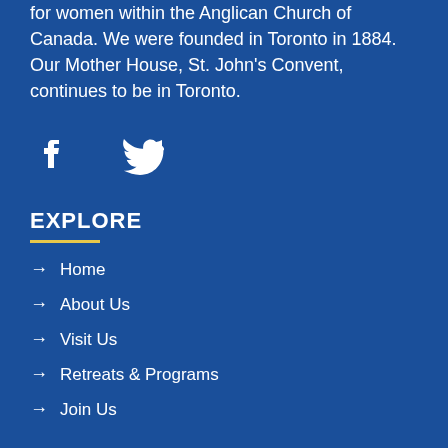for women within the Anglican Church of Canada. We were founded in Toronto in 1884. Our Mother House, St. John's Convent, continues to be in Toronto.
[Figure (illustration): White Facebook and Twitter social media icons on blue background]
EXPLORE
→ Home
→ About Us
→ Visit Us
→ Retreats & Programs
→ Join Us